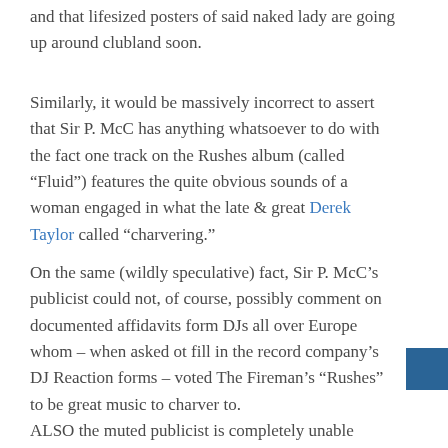and that lifesized posters of said naked lady are going up around clubland soon.
Similarly, it would be massively incorrect to assert that Sir P. McC has anything whatsoever to do with the fact one track on the Rushes album (called “Fluid”) features the quite obvious sounds of a woman engaged in what the late & great Derek Taylor called “charvering.”
On the same (wildly speculative) fact, Sir P. McC’s publicist could not, of course, possibly comment on documented affidavits form DJs all over Europe whom – when asked ot fill in the record company’s DJ Reaction forms – voted The Fireman’s “Rushes” to be great music to charver to.
ALSO the muted publicist is completely unable